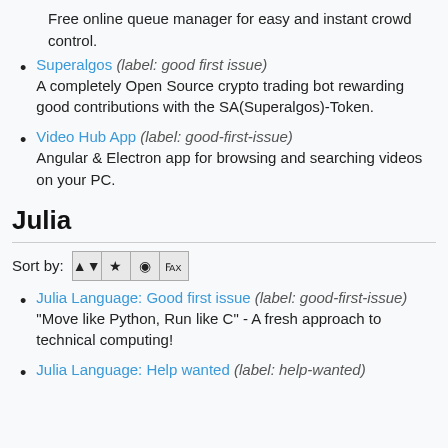Free online queue manager for easy and instant crowd control.
Superalgos (label: good first issue) - A completely Open Source crypto trading bot rewarding good contributions with the SA(Superalgos)-Token.
Video Hub App (label: good-first-issue) - Angular & Electron app for browsing and searching videos on your PC.
Julia
Sort by: [sort buttons]
Julia Language: Good first issue (label: good-first-issue) - "Move like Python, Run like C" - A fresh approach to technical computing!
Julia Language: Help wanted (label: help-wanted)